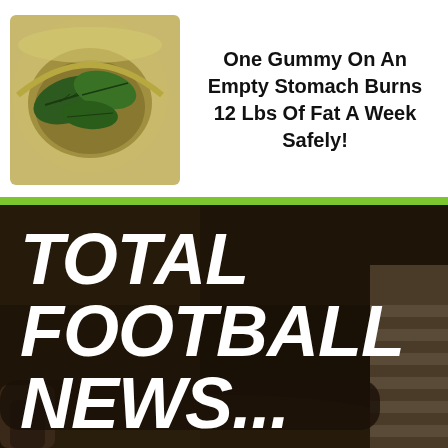[Figure (photo): Photo of a bowl with green leaves (herbs/tea leaves) floating in liquid, with yellowish-green rim, representing a natural remedy advertisement]
One Gummy On An Empty Stomach Burns 12 Lbs Of Fat A Week Safely!
[Figure (photo): Dark action photo of a football player holding up a large board/sign, with text overlay reading TOTAL FOOTBALL NEWS... in large white italic bold letters. A player in a striped jersey visible on the right edge.]